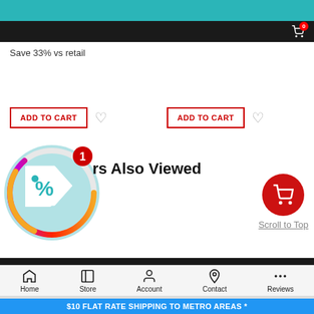Save 33% vs retail
ADD TO CART
ADD TO CART
[Figure (illustration): Promo deal tag icon inside a circular colorful ring badge with a red notification badge showing '1']
rs Also Viewed
[Figure (illustration): Red circular button with white shopping cart icon, with 'Scroll to Top' label below]
Home  Store  Account  Contact  Reviews
$10 FLAT RATE SHIPPING TO METRO AREAS *